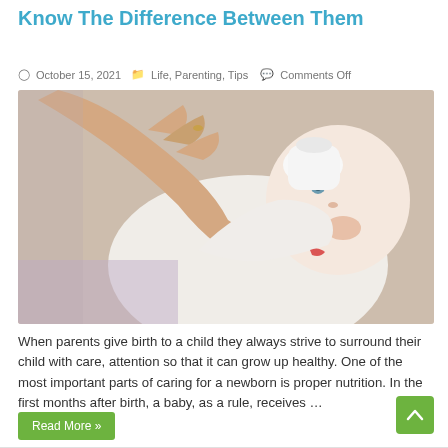Know The Difference Between Them
October 15, 2021   Life, Parenting, Tips   Comments Off
[Figure (photo): A baby being bottle-fed by an adult hand. The baby is wearing a white outfit and looking upward while feeding.]
When parents give birth to a child they always strive to surround their child with care, attention so that it can grow up healthy. One of the most important parts of caring for a newborn is proper nutrition. In the first months after birth, a baby, as a rule, receives …